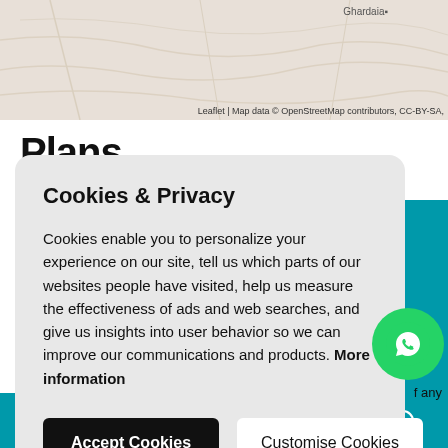[Figure (screenshot): Partial map background showing terrain with Ghardaia label and OpenStreetMap attribution]
Plans
Cookies & Privacy

Cookies enable you to personalize your experience on our site, tell us which parts of our websites people have visited, help us measure the effectiveness of ads and web searches, and give us insights into user behavior so we can improve our communications and products. More information
Accept Cookies  Customise Cookies